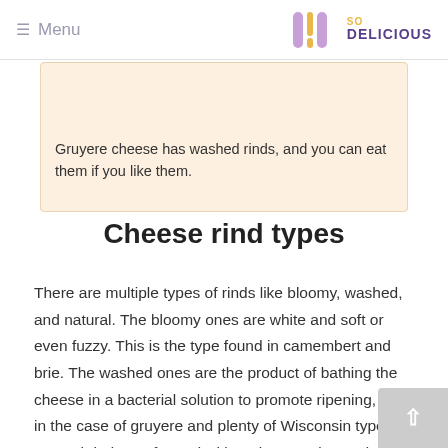≡ Menu | So Delicious
Gruyere cheese has washed rinds, and you can eat them if you like them.
Cheese rind types
There are multiple types of rinds like bloomy, washed, and natural. The bloomy ones are white and soft or even fuzzy. This is the type found in camembert and brie. The washed ones are the product of bathing the cheese in a bacterial solution to promote ripening, like in the case of gruyere and plenty of Wisconsin types. Natural rinds are formed without intervention and they are